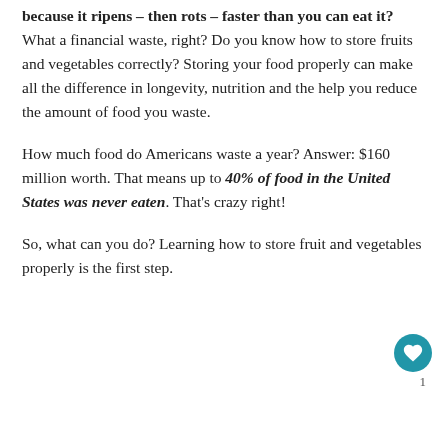because it ripens – then rots – faster than you can eat it? What a financial waste, right? Do you know how to store fruits and vegetables correctly? Storing your food properly can make all the difference in longevity, nutrition and the help you reduce the amount of food you waste.
How much food do Americans waste a year? Answer: $160 million worth. That means up to 40% of food in the United States was never eaten. That's crazy right!
So, what can you do? Learning how to store fruit and vegetables properly is the first step.
1